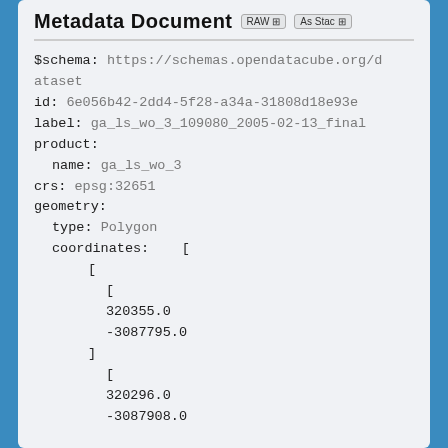Metadata Document
$schema: https://schemas.opendatacube.org/dataset
id: 6e056b42-2dd4-5f28-a34a-31808d18e93e
label: ga_ls_wo_3_109080_2005-02-13_final
product:
  name: ga_ls_wo_3
crs: epsg:32651
geometry:
  type: Polygon
  coordinates:  [
        [
          [
          320355.0
          -3087795.0
        ]
          [
          320296.0
          -3087908.0